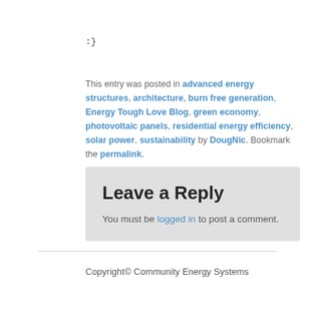:}
This entry was posted in advanced energy structures, architecture, burn free generation, Energy Tough Love Blog, green economy, photovoltaic panels, residential energy efficiency, solar power, sustainability by DougNic. Bookmark the permalink.
Leave a Reply
You must be logged in to post a comment.
Copyright© Community Energy Systems